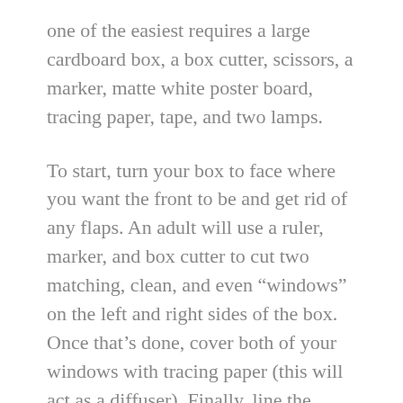one of the easiest requires a large cardboard box, a box cutter, scissors, a marker, matte white poster board, tracing paper, tape, and two lamps.
To start, turn your box to face where you want the front to be and get rid of any flaps. An adult will use a ruler, marker, and box cutter to cut two matching, clean, and even “windows” on the left and right sides of the box. Once that’s done, cover both of your windows with tracing paper (this will act as a diffuser). Finally, line the background/inside of the box with the poster board (cut to fit your box and taped up top), as this will serve as your backdrop. Be careful to avoid wrinkles; the poster board can drape or curve slightly.
Once you’re done with the box, you can put two lamps